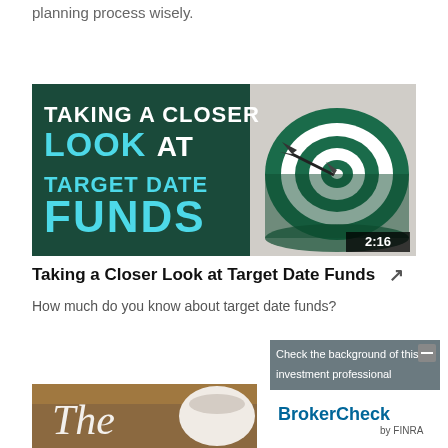planning process wisely.
[Figure (screenshot): Video thumbnail for 'Taking a Closer Look at Target Date Funds' showing a green and white bullseye dart board with a dart, and text overlay reading 'TAKING A CLOSER LOOK AT TARGET DATE FUNDS' with a 2:16 duration badge]
Taking a Closer Look at Target Date Funds
How much do you know about target date funds?
[Figure (screenshot): BrokerCheck banner overlay showing 'Check the background of this investment professional' with BrokerCheck by FINRA logo and a minimize button]
[Figure (screenshot): Partial thumbnail of a second video showing a coffee cup on a wooden table with cursive text 'The']